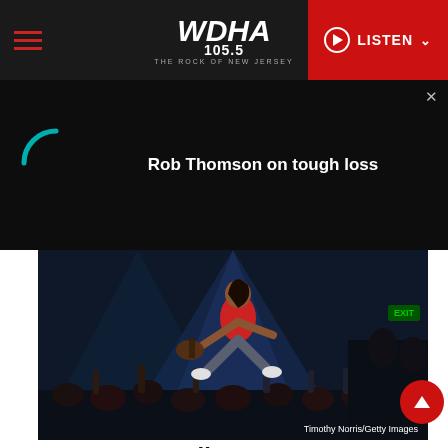WDHA 105.5 THE ROCK OF NEW JERSEY — LISTEN
[Figure (screenshot): Black video banner with loading spinner arc and text 'Rob Thomson on tough loss', with close X button in top right]
[Figure (photo): Concert photo of a performer jumping in a red jacket with guitar, crowd below, blue stage lighting. Credit: Timothy Norris/Getty Images]
Green Day, Fall Out Boy, Weezer Rock the Whisky A Go Go